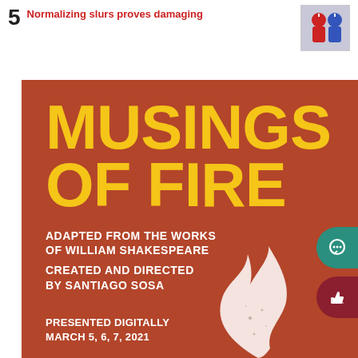5
Normalizing slurs proves damaging
[Figure (illustration): Small thumbnail illustration showing abstract figures in red and blue]
[Figure (illustration): Event poster with burnt orange/red background. Large yellow bold text reads MUSINGS OF FIRE. White bold text below reads ADAPTED FROM THE WORKS OF WILLIAM SHAKESPEARE. CREATED AND DIRECTED BY SANTIAGO SOSA. PRESENTED DIGITALLY MARCH 5, 6, 7, 2021. A white flame illustration appears at the bottom right. Two circular UI buttons on the right edge: teal chat bubble icon and dark red thumbs-up icon.]